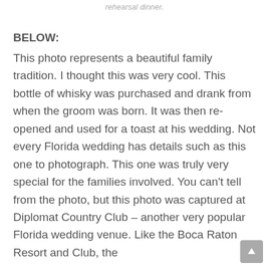rehearsal dinner.
BELOW:
This photo represents a beautiful family tradition. I thought this was very cool. This bottle of whisky was purchased and drank from when the groom was born. It was then re-opened and used for a toast at his wedding. Not every Florida wedding has details such as this one to photograph. This one was truly very special for the families involved. You can't tell from the photo, but this photo was captured at Diplomat Country Club – another very popular Florida wedding venue. Like the Boca Raton Resort and Club, the